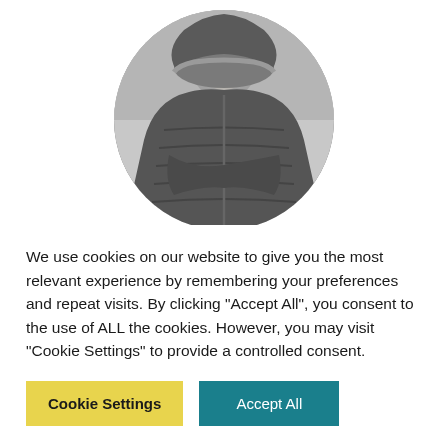[Figure (photo): Circular black-and-white profile photo of Alexandra López Pérez wearing a puffer jacket with fur-trimmed hood]
Alexandra López Pérez
Audio Visual Technician
We use cookies on our website to give you the most relevant experience by remembering your preferences and repeat visits. By clicking "Accept All", you consent to the use of ALL the cookies. However, you may visit "Cookie Settings" to provide a controlled consent.